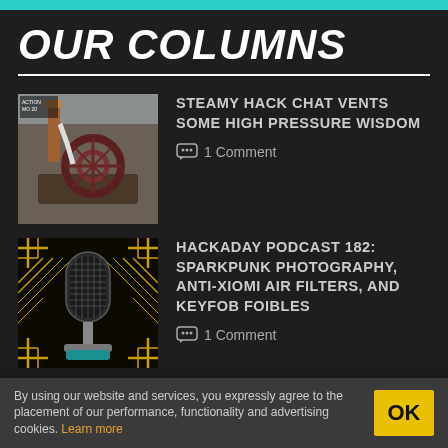OUR COLUMNS
[Figure (photo): Steam engine model with flywheel and copper tubing against a building background]
STEAMY HACK CHAT VENTS SOME HIGH PRESSURE WISDOM
1 Comment
[Figure (illustration): Stylized vintage microphone illustration with yellow art-deco decorative border on dark background]
HACKADAY PODCAST 182: SPARKPUNK PHOTOGRAPHY, ANTI-XIOMI AIR FILTERS, AND KEYFOB FOIBLES
1 Comment
By using our website and services, you expressly agree to the placement of our performance, functionality and advertising cookies. Learn more